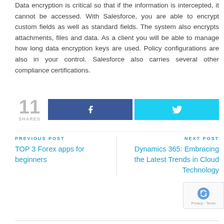Data encryption is critical so that if the information is intercepted, it cannot be accessed. With Salesforce, you are able to encrypt custom fields as well as standard fields. The system also encrypts attachments, files and data. As a client you will be able to manage how long data encryption keys are used. Policy configurations are also in your control. Salesforce also carries several other compliance certifications.
[Figure (infographic): Social share count showing 11 SHARES with a Facebook share button (dark blue with f icon) and a Twitter share button (cyan with bird icon)]
PREVIOUS POST
TOP 3 Forex apps for beginners
NEXT POST
Dynamics 365: Embracing the Latest Trends in Cloud Technology